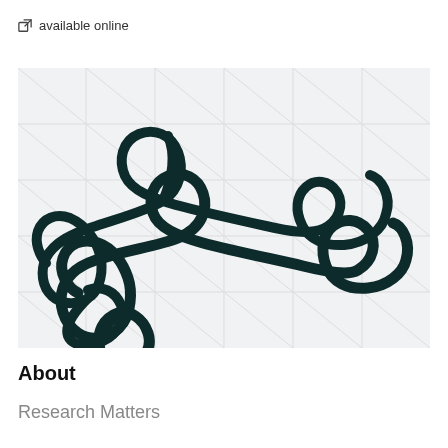available online
[Figure (logo): Erasmus cursive/handwriting-style logo on a light grey grid background with diagonal line pattern]
About
Research Matters